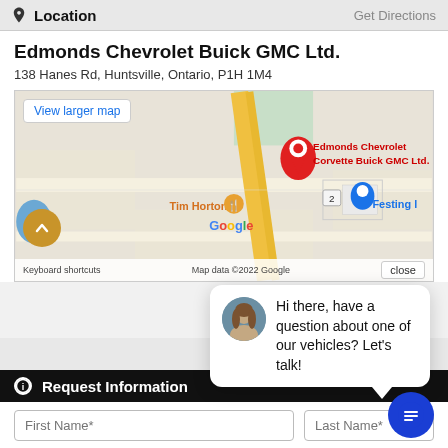Location  Get Directions
Edmonds Chevrolet Buick GMC Ltd.
138 Hanes Rd, Huntsville, Ontario, P1H 1M4
[Figure (map): Google Maps embed showing Edmonds Chevrolet Corvette Buick GMC Ltd. location near Tim Hortons in Huntsville, Ontario. Map data ©2022 Google. Shows 'View larger map' button, 'Keyboard shortcuts' link, and 'close' button.]
Hi there, have a question about one of our vehicles? Let's talk!
Request Information
First Name*
Last Name*
Email Address*